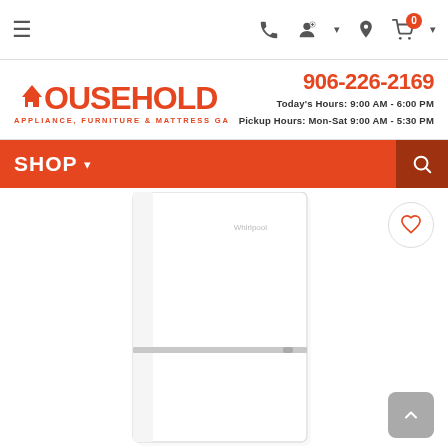Navigation bar with hamburger menu, phone icon, user icon, location icon, shopping cart with badge 0
[Figure (logo): Household Appliance, Furniture & Mattress Gallery logo in orange]
906-226-2169
Today's Hours: 9:00 AM - 6:00 PM
Pickup Hours: Mon-Sat 9:00 AM - 5:30 PM
SHOP
[Figure (photo): White Whirlpool top-freezer refrigerator product photo on white background]